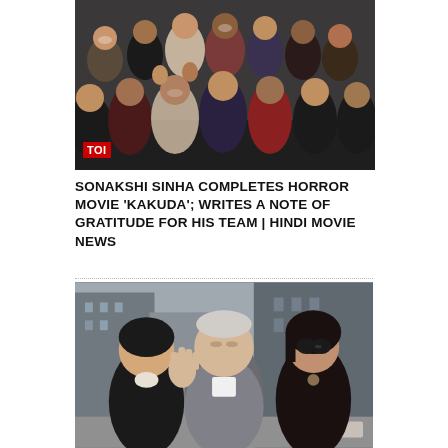[Figure (photo): Group photo of Sonakshi Sinha with the cast and crew of horror movie Kakuda, posing together indoors, with TOI logo watermark in bottom-left corner]
SONAKSHI SINHA COMPLETES HORROR MOVIE 'KAKUDA'; WRITES A NOTE OF GRATITUDE FOR HIS TEAM | HINDI MOVIE NEWS
[Figure (photo): Three people standing outdoors on a city street - a woman in black on the left, an elderly man in the center waving at the camera wearing a grey blazer, and a woman in black with sunglasses on the right]